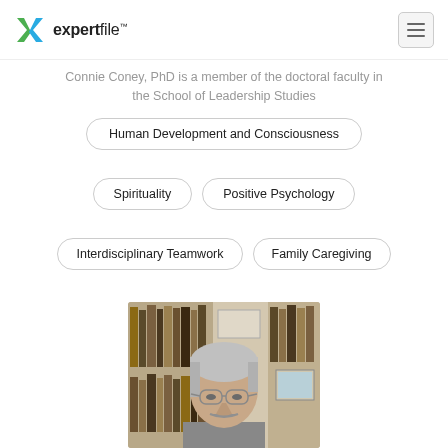expertfile™
Connie Coney, PhD is a member of the doctoral faculty in the School of Leadership Studies
Human Development and Consciousness
Spirituality
Positive Psychology
Interdisciplinary Teamwork
Family Caregiving
[Figure (photo): Headshot of Connie Coney, PhD — older man with gray hair, glasses, and mustache, seated in front of a bookshelf]